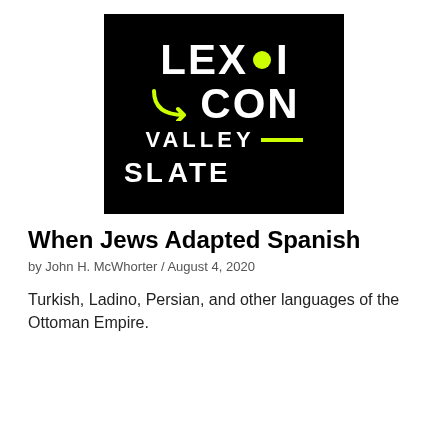[Figure (logo): Lexicon Valley podcast logo on black background. Shows 'LEX•I' on top line with yellow dot, yellow curved arrow pointing right, 'CON' on second line, 'VALLEY—' with yellow dash on third line, and 'SLATE' at bottom left. All text in white bold on black.]
When Jews Adapted Spanish
by John H. McWhorter / August 4, 2020
Turkish, Ladino, Persian, and other languages of the Ottoman Empire.